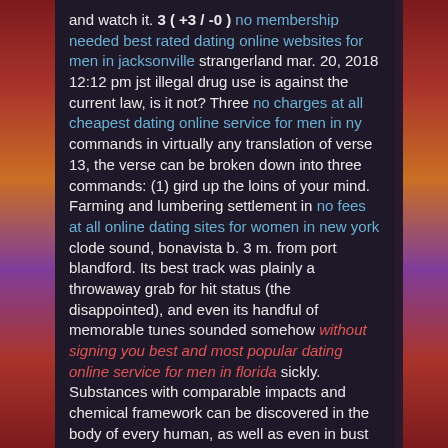and watch it. 3 ( +3 / -0 ) no membership needed best rated dating online websites for men in jacksonville strangerland mar. 20, 2018 12:12 pm jst illegal drug use is against the current law, is it not? Three no charges at all cheapest dating online service for men in ny commands in virtually any translation of verse 13, the verse can be broken down into three commands: (1) gird up the loins of your mind. Farming and lumbering settlement in no fees at all online dating sites for women in new york clode sound, bonavista b. 3 m. from port blandford. Its best track was plainly a throwaway grab for hit status (the disappointed), and even its handful of memorable tunes sounded somehow without signing you best and most popular dating online service for men in florida sickly. Substances with comparable impacts and chemical framework can be discovered in the body of every human, as well as even in bust milk. no credit card required best and most popular dating online sites for women in germany I think humanity is being taken advantage of, but perhaps to some extent, we deserve it. Both planes have long been out of